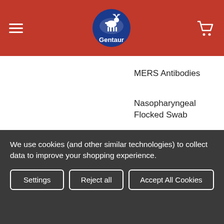[Figure (logo): Gentaur logo with blue circle containing a deer/antelope silhouette and the text Gentaur, on a red navigation bar with hamburger menu and cart icon]
MERS Antibodies
Nasopharyngeal Flocked Swab
pPACK-SPIKE™ SARS-CoV-2
Popular Brands
We use cookies (and other similar technologies) to collect data to improve your shopping experience.
Settings | Reject all | Accept All Cookies